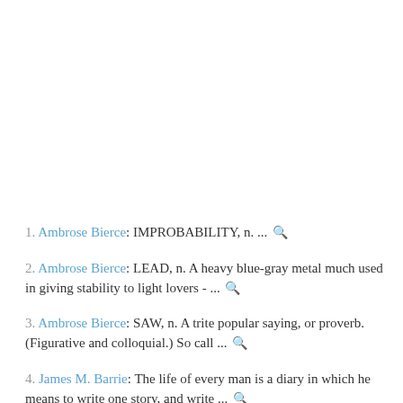1. Ambrose Bierce: IMPROBABILITY, n. ... 🔍
2. Ambrose Bierce: LEAD, n. A heavy blue-gray metal much used in giving stability to light lovers - ... 🔍
3. Ambrose Bierce: SAW, n. A trite popular saying, or proverb. (Figurative and colloquial.) So call ... 🔍
4. James M. Barrie: The life of every man is a diary in which he means to write one story, and write ... 🔍